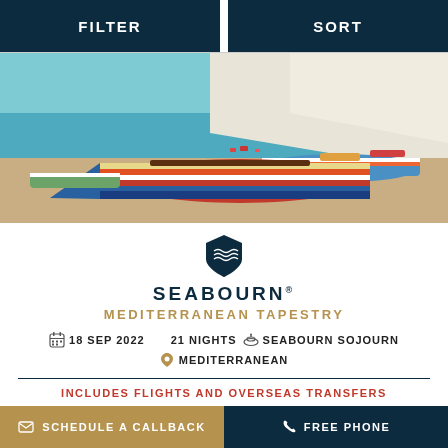FILTER   SORT
[Figure (photo): Colorful striped fishing boats on a sandy Mediterranean beach with white cliffs in the background]
[Figure (logo): Seabourn shield logo with wave design in dark navy blue]
SEABOURN®
MEDITERRANEAN TAPESTRY
18 SEP 2022   21 NIGHTS   SEABOURN SOJOURN
MEDITERRANEAN
INCLUDES FLIGHTS AND OVERSEAS TRANSFERS
FLY CRUISE FROM
£££££pp
SCHEDULE A CALLBACK   FREE PHONE